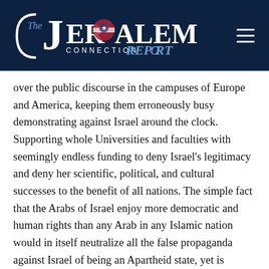[Figure (logo): The Jerusalem Connection Report logo on dark navy background with hamburger menu icon]
over the public discourse in the campuses of Europe and America, keeping them erroneously busy demonstrating against Israel around the clock. Supporting whole Universities and faculties with seemingly endless funding to deny Israel’s legitimacy and deny her scientific, political, and cultural successes to the benefit of all nations. The simple fact that the Arabs of Israel enjoy more democratic and human rights than any Arab in any Islamic nation would in itself neutralize all the false propaganda against Israel of being an Apartheid state, yet is conveniently ignored entirely. The massive funding of NGO’s throughout Europe and the United States and of